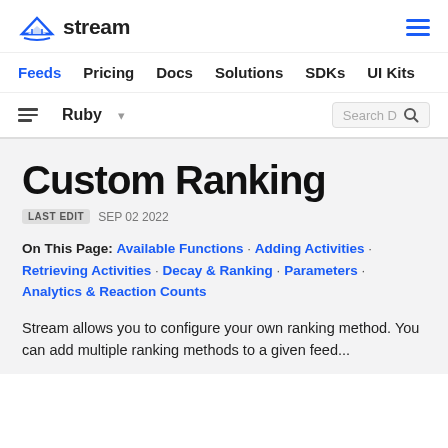stream | Feeds  Pricing  Docs  Solutions  SDKs  UI Kits
Ruby  Search D
Custom Ranking
LAST EDIT  SEP 02 2022
On This Page: Available Functions · Adding Activities · Retrieving Activities · Decay & Ranking · Parameters · Analytics & Reaction Counts
Stream allows you to configure your own ranking method. You can add multiple ranking methods to a given feed...